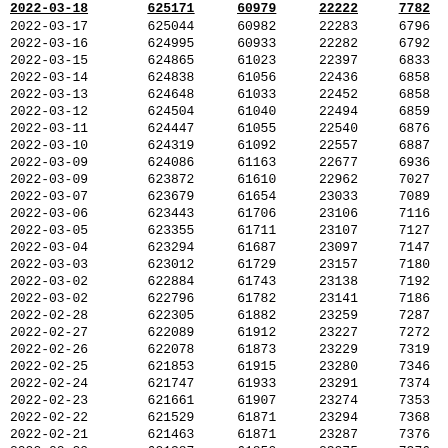| Date | Col1 | Col2 | Col3 | Col4 |
| --- | --- | --- | --- | --- |
| 2022-03-17 | 625044 | 60982 | 22283 | 6796 |
| 2022-03-16 | 624995 | 60933 | 22282 | 6792 |
| 2022-03-15 | 624865 | 61023 | 22397 | 6833 |
| 2022-03-14 | 624838 | 61056 | 22436 | 6858 |
| 2022-03-13 | 624648 | 61033 | 22452 | 6858 |
| 2022-03-12 | 624504 | 61040 | 22494 | 6859 |
| 2022-03-11 | 624447 | 61055 | 22540 | 6876 |
| 2022-03-10 | 624319 | 61092 | 22557 | 6887 |
| 2022-03-09 | 624086 | 61163 | 22677 | 6936 |
| 2022-03-09 | 623872 | 61610 | 22962 | 7027 |
| 2022-03-07 | 623679 | 61654 | 23033 | 7089 |
| 2022-03-06 | 623443 | 61706 | 23106 | 7116 |
| 2022-03-05 | 623355 | 61711 | 23107 | 7127 |
| 2022-03-04 | 623294 | 61687 | 23097 | 7147 |
| 2022-03-03 | 623012 | 61729 | 23157 | 7180 |
| 2022-03-02 | 622884 | 61743 | 23138 | 7192 |
| 2022-03-02 | 622796 | 61782 | 23141 | 7186 |
| 2022-02-28 | 622305 | 61882 | 23259 | 7287 |
| 2022-02-27 | 622089 | 61912 | 23227 | 7272 |
| 2022-02-26 | 622078 | 61873 | 23229 | 7319 |
| 2022-02-25 | 621853 | 61915 | 23280 | 7346 |
| 2022-02-24 | 621747 | 61933 | 23291 | 7374 |
| 2022-02-23 | 621661 | 61907 | 23274 | 7353 |
| 2022-02-22 | 621529 | 61871 | 23294 | 7368 |
| 2022-02-21 | 621463 | 61871 | 23287 | 7376 |
| 2022-02-20 | 621387 | 61850 | 23275 | 7376 |
| 2022-02-19 | 621374 | 61837 | 23253 | 7360 |
| 2022-02-18 | 621360 | 61793 | 23261 | 7357 |
| 2022-02-17 | 621266 | 61782 | 23257 | 7350 |
| 2022-02-16 | 621125 | 61774 | 23284 | 7365 |